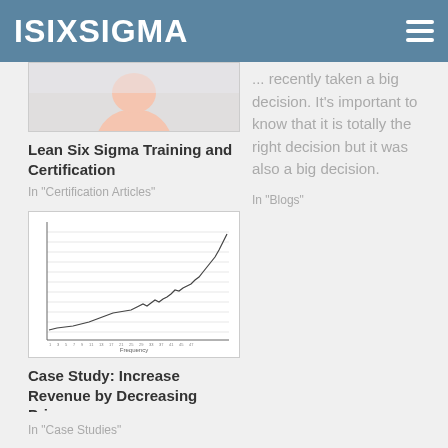ISIXSIGMA
[Figure (photo): Partial photo of a person, cropped at the top]
Lean Six Sigma Training and Certification
In "Certification Articles"
... recently taken a big decision. It's important to know that it is totally the right decision but it was also a big decision.
In "Blogs"
[Figure (line-chart): Line chart showing increasing trend, x-axis labeled Frequency with many numeric tick labels]
Case Study: Increase Revenue by Decreasing Prices
In "Case Studies"